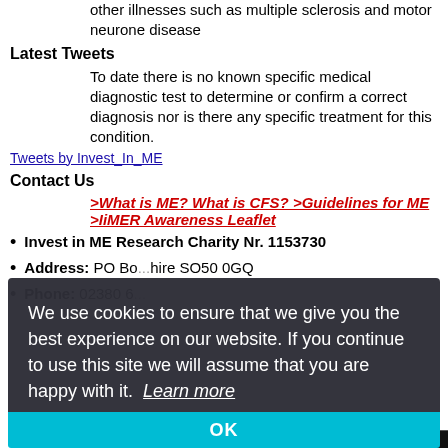other illnesses such as multiple sclerosis and motor neurone disease
Latest Tweets
To date there is no known specific medical diagnostic test to determine or confirm a correct diagnosis nor is there any specific treatment for this condition.
Tweets by Invest_In_ME
Contact Us
>What is ME? What is CFS? >Guidelines for ME >IiMER Awareness Leaflet
Invest in ME Research Charity Nr. 1153730
[Figure (screenshot): Journal of IiMER Volume 12 Issue 1 May 2018 cover image]
Address: PO Bo[x ...] hire SO50 0GQ
Phone: 02380 6[...]
We use cookies to ensure that we give you the best experience on our website. If you continue to use this site we will assume that you are happy with it.  Learn more
OK